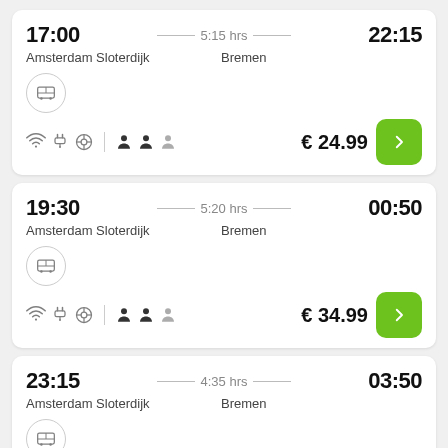17:00 — 5:15 hrs — 22:15, Amsterdam Sloterdijk → Bremen, € 24.99
19:30 — 5:20 hrs — 00:50, Amsterdam Sloterdijk → Bremen, € 34.99
23:15 — 4:35 hrs — 03:50, Amsterdam Sloterdijk → Bremen, € 29.99